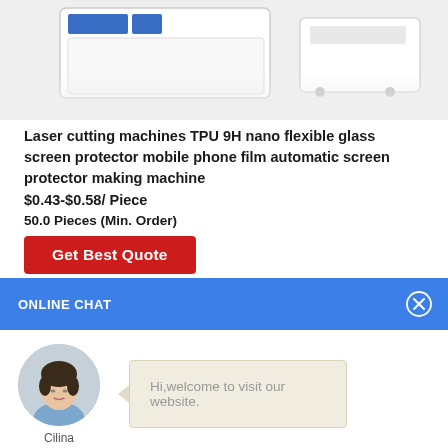[Figure (photo): Partial top view of a laser cutting machine, white and blue industrial equipment]
Laser cutting machines TPU 9H nano flexible glass screen protector mobile phone film automatic screen protector making machine
$0.43-$0.58/ Piece
50.0 Pieces (Min. Order)
Get Best Quote
ONLINE CHAT
[Figure (photo): Avatar photo of a young woman named Cilina, customer service representative]
Hi,welcome to visit our website.